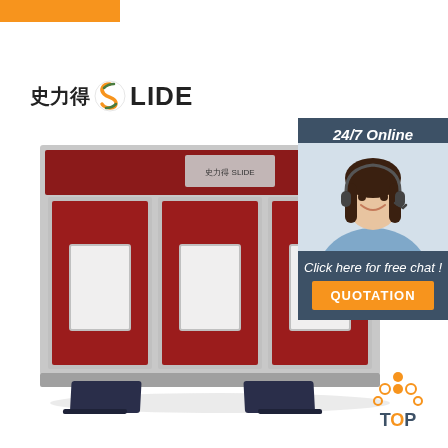[Figure (logo): Orange decorative bar at top left]
[Figure (logo): SLIDE brand logo with Chinese characters 史力得 and stylized S icon followed by LIDE text]
[Figure (photo): Industrial spray paint booth with red panels, three door sections with white windows, aluminum frame, and two floor ramps/tracks at bottom]
[Figure (photo): Customer service panel with dark blue background showing headset woman, 24/7 Online text, Click here for free chat text, and QUOTATION orange button]
[Figure (illustration): TOP button with orange dots arranged in arrow/house shape above the word TOP with O highlighted in orange]